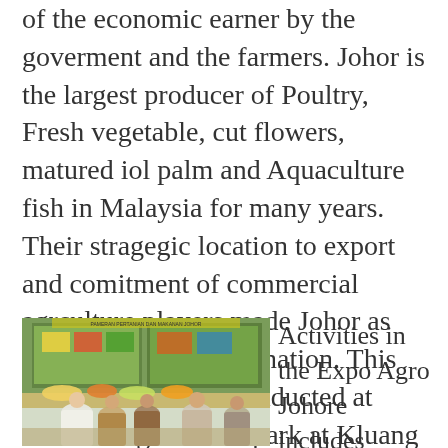of the economic earner by the goverment and the farmers. Johor is the largest producer of Poultry, Fresh vegetable, cut flowers, matured iol palm and Aquaculture fish in Malaysia for many years. Their stragegic location to export and comitment of commercial agrculture players made Johor as Food Producrs to the nation. This year the expo was conducted at Modern Agriculture park at Kluang where about 4,000 hectar of land was developed with food crop, livestock, fisheries and processing activities by 14 companies.
[Figure (photo): Photo of people at an exhibition or expo booth with displays and products on tables]
Activities in the Expo Agro Johore includes Farmers Conference, Convention, Exposition, Farm Visits, Farm